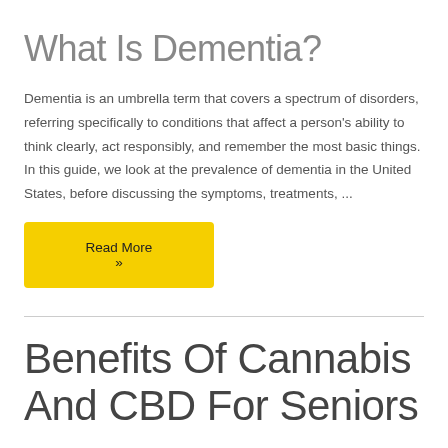What Is Dementia?
Dementia is an umbrella term that covers a spectrum of disorders, referring specifically to conditions that affect a person's ability to think clearly, act responsibly, and remember the most basic things. In this guide, we look at the prevalence of dementia in the United States, before discussing the symptoms, treatments, ...
Read More »
Benefits Of Cannabis And CBD For Seniors